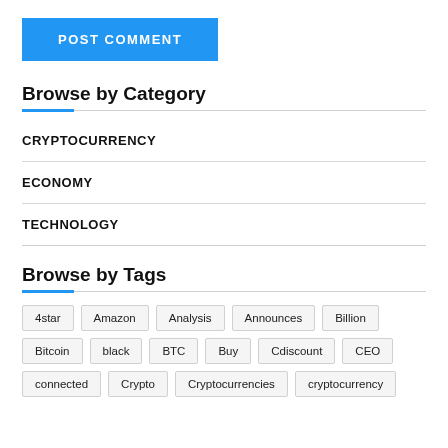POST COMMENT
Browse by Category
CRYPTOCURRENCY
ECONOMY
TECHNOLOGY
Browse by Tags
4star
Amazon
Analysis
Announces
Billion
Bitcoin
black
BTC
Buy
Cdiscount
CEO
connected
Crypto
Cryptocurrencies
cryptocurrency